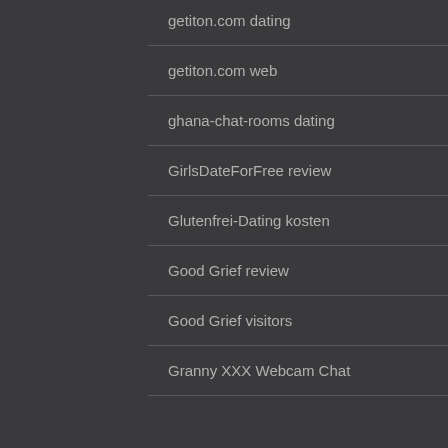getiton.com dating
getiton.com web
ghana-chat-rooms dating
GirlsDateForFree review
Glutenfrei-Dating kosten
Good Grief review
Good Grief visitors
Granny XXX Webcam Chat